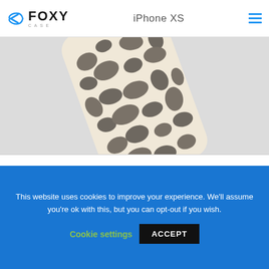← FOXY CASE | iPhone XS
[Figure (photo): Leopard Print Silicone iPhone Skin product photo — a phone case with beige/cream background and dark grey leopard print spots, angled view showing the back of the case]
Leopard Print Silicone iPhone Skin
★★★★★ (0)
$1.68 – $2.80
This website uses cookies to improve your experience. We'll assume you're ok with this, but you can opt-out if you wish.
Cookie settings | ACCEPT